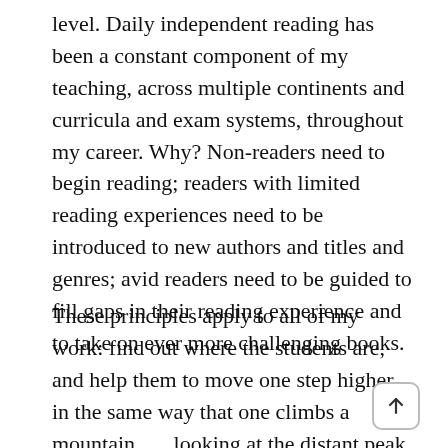level. Daily independent reading has been a constant component of my teaching, across multiple continents and curricula and exam systems, throughout my career. Why? Non-readers need to begin reading; readers with limited reading experiences need to be introduced to new authors and titles and genres; avid readers need to be guided to fill gaps in their reading experience and to take on ever more challenging books.
These principles apply to all of my work: find out where the students are, and help them to move one step higher in the same way that one climbs a mountain . . . looking at the distant peak one moment, and at the path ahead of one's feet the